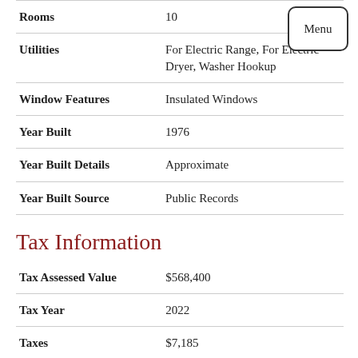| Property Feature | Value |
| --- | --- |
| Rooms | 10 |
| Utilities | For Electric Range, For Electric Dryer, Washer Hookup |
| Window Features | Insulated Windows |
| Year Built | 1976 |
| Year Built Details | Approximate |
| Year Built Source | Public Records |
Tax Information
| Tax Item | Value |
| --- | --- |
| Tax Assessed Value | $568,400 |
| Tax Year | 2022 |
| Taxes | $7,185 |